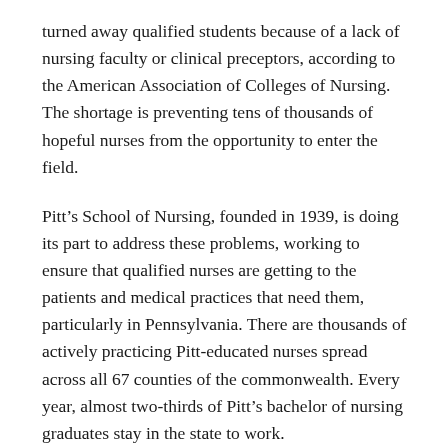turned away qualified students because of a lack of nursing faculty or clinical preceptors, according to the American Association of Colleges of Nursing. The shortage is preventing tens of thousands of hopeful nurses from the opportunity to enter the field.
Pitt's School of Nursing, founded in 1939, is doing its part to address these problems, working to ensure that qualified nurses are getting to the patients and medical practices that need them, particularly in Pennsylvania. There are thousands of actively practicing Pitt-educated nurses spread across all 67 counties of the commonwealth. Every year, almost two-thirds of Pitt's bachelor of nursing graduates stay in the state to work.
In addition to preparing graduates like Zubiri to help ease staffing shortages state-side and nationally, the